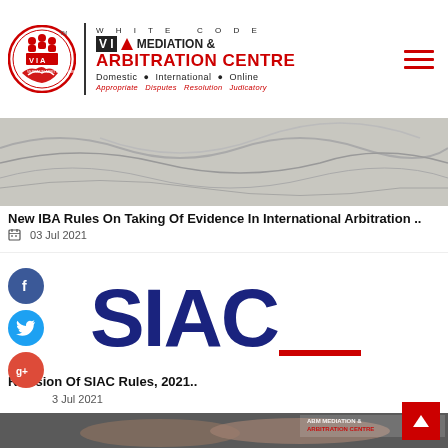[Figure (logo): White Code VIA Mediation & Arbitration Centre logo with circle icon and text branding. Domestic · International · Online. Appropriate Disputes Resolution Judicatory.]
[Figure (photo): Grayscale banner image with wavy abstract design elements]
New IBA Rules On Taking Of Evidence In International Arbitration ..
📅 03 Jul 2021
[Figure (logo): SIAC logo in dark blue lettering with a red underline beneath the A]
Revision Of SIAC Rules, 2021..
03 Jul 2021
[Figure (photo): Photo of two people shaking hands across a table, with ABM Mediation & Arbitration Centre logo watermark visible in top right corner]